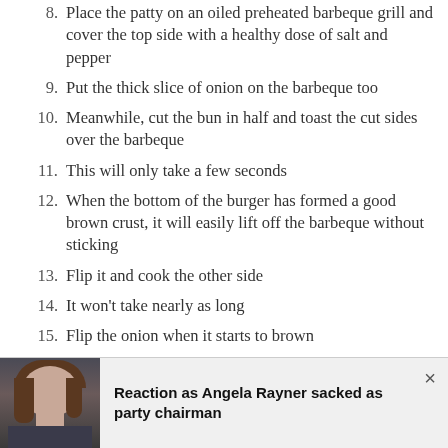8. Place the patty on an oiled preheated barbeque grill and cover the top side with a healthy dose of salt and pepper
9. Put the thick slice of onion on the barbeque too
10. Meanwhile, cut the bun in half and toast the cut sides over the barbeque
11. This will only take a few seconds
12. When the bottom of the burger has formed a good brown crust, it will easily lift off the barbeque without sticking
13. Flip it and cook the other side
14. It won't take nearly as long
15. Flip the onion when it starts to brown
16. Lay a couple of slices of 'cheese' over the burger while it's still on the barbeque
17. Squirt some Heinz ketchup and French's mustard on the bottom of the bun
[Figure (photo): Photo of Angela Rayner alongside a banner headline reading 'Reaction as Angela Rayner sacked as party chairman']